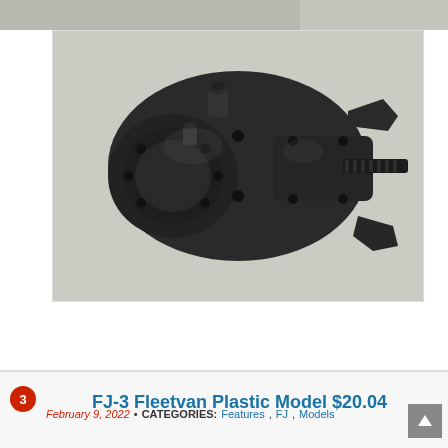[Figure (photo): Partial view of a vehicle part (top strip cropped)]
[Figure (photo): Black metal steering gear box / power steering unit photographed on a light concrete surface]
Like 0
2 COMMENTS SO FAR • ADD TO FAVORITES
FJ-3 Fleetvan Plastic Model $20.04
February 9, 2022 • CATEGORIES: Features, FJ, Models